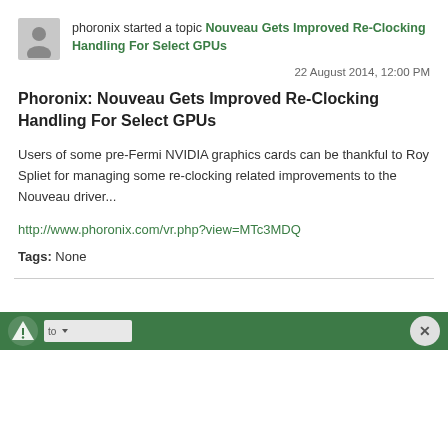phoronix started a topic Nouveau Gets Improved Re-Clocking Handling For Select GPUs
22 August 2014, 12:00 PM
Phoronix: Nouveau Gets Improved Re-Clocking Handling For Select GPUs
Users of some pre-Fermi NVIDIA graphics cards can be thankful to Roy Spliet for managing some re-clocking related improvements to the Nouveau driver...
http://www.phoronix.com/vr.php?view=MTc3MDQ
Tags: None
[Figure (other): Green advertisement bar with a triangular logo icon on the left, a light gray dropdown text box, and a circular close button on the right]